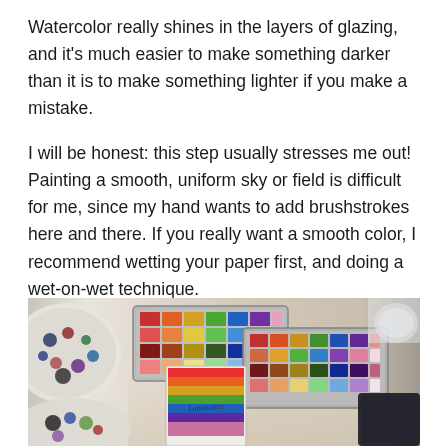Watercolor really shines in the layers of glazing, and it's much easier to make something darker than it is to make something lighter if you make a mistake.
I will be honest: this step usually stresses me out! Painting a smooth, uniform sky or field is difficult for me, since my hand wants to add brushstrokes here and there. If you really want a smooth color, I recommend wetting your paper first, and doing a wet-on-wet technique.
[Figure (photo): Overhead view of a desk with watercolor paint sets in metal tins arranged with multiple rows of colorful pan watercolors, a used white palette with paint residue on the left, and a dark device (tablet or phone) on the right edge.]